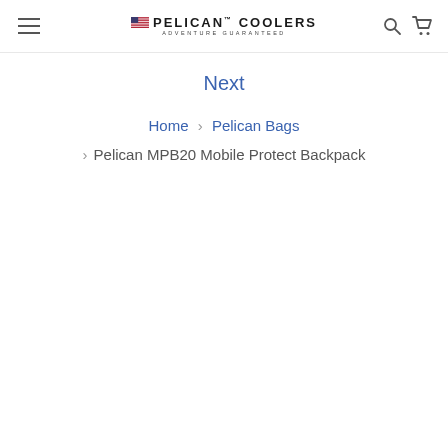PELICAN COOLERS ADVENTURE GUARANTEED
Next
Home > Pelican Bags > Pelican MPB20 Mobile Protect Backpack